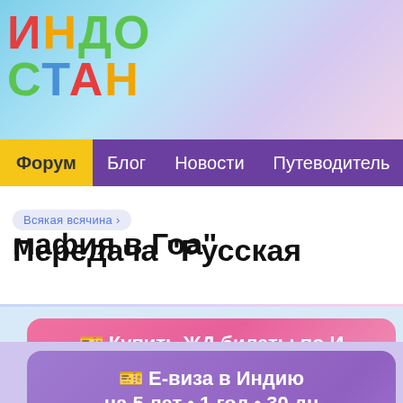[Figure (logo): Indostan website logo with colorful Cyrillic letters ИНДОСТАН on blue/purple gradient background]
Форум  Блог  Новости  Путеводитель
Всякая всячина › Передача "Русская мафия в Гоа"
🎫 Купить ЖД билеты по И
Открыта продажа по 4 января
🎫 Е-виза в Индию
на 5 лет • 1 год • 30 дн